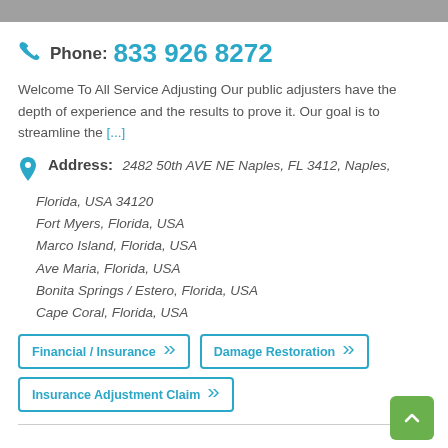Phone: 833 926 8272
Welcome To All Service Adjusting Our public adjusters have the depth of experience and the results to prove it. Our goal is to streamline the [...]
Address: 2482 50th AVE NE Naples, FL 3412, Naples, Florida, USA 34120
Fort Myers, Florida, USA
Marco Island, Florida, USA
Ave Maria, Florida, USA
Bonita Springs / Estero, Florida, USA
Cape Coral, Florida, USA
Financial / Insurance
Damage Restoration
Insurance Adjustment Claim